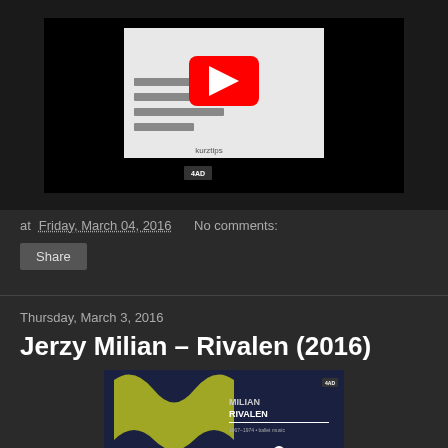[Figure (screenshot): YouTube video thumbnail embedded in a dark blog page, showing a black background with a video player thumbnail containing a YouTube play button (red) and album artwork below it with a small '4AD' logo.]
at Friday, March 04, 2016   No comments:
Share
Thursday, March 3, 2016
Jerzy Milian – Rivalen (2016)
[Figure (photo): Album cover for Jerzy Milian – Rivalen showing a yellow-green abstract M shape on a dark background with 'MILIAN RIVALEN' text, a dancing figure illustration, and small text at bottom. A '4AD' logo appears in top right.]